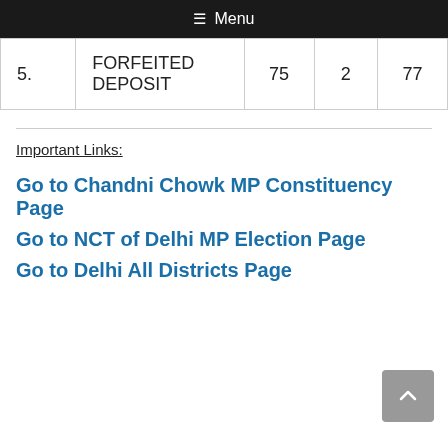≡ Menu
| 5. | FORFEITED DEPOSIT | 75 | 2 | 77 |
Important Links:
Go to Chandni Chowk MP Constituency Page
Go to NCT of Delhi MP Election Page
Go to Delhi All Districts Page